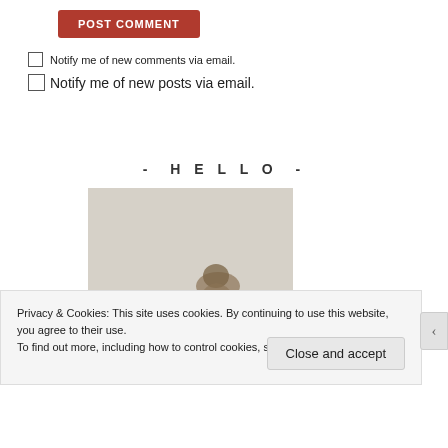POST COMMENT
Notify me of new comments via email.
Notify me of new posts via email.
- HELLO -
[Figure (photo): A person or figure partially visible at bottom of a light beige/grey background photo]
Privacy & Cookies: This site uses cookies. By continuing to use this website, you agree to their use. To find out more, including how to control cookies, see here: Cookie Policy
Close and accept